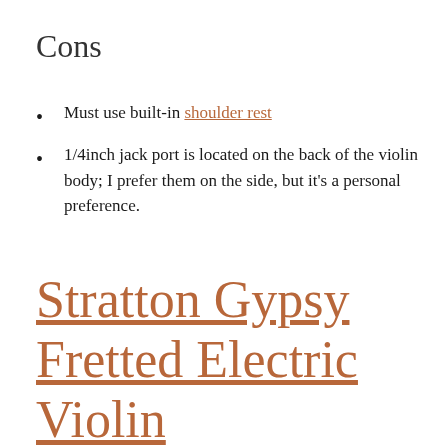Cons
Must use built-in shoulder rest
1/4inch jack port is located on the back of the violin body; I prefer them on the side, but it’s a personal preference.
Stratton Gypsy Fretted Electric Violin